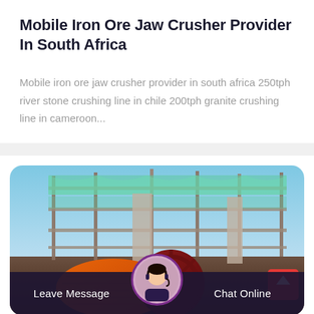Mobile Iron Ore Jaw Crusher Provider In South Africa
Mobile iron ore jaw crusher provider in south africa 250tph river stone crushing line in chile 200tph granite crushing line in cameroon...
[Figure (photo): Industrial mining/crushing facility with large orange cylindrical crusher machinery in the foreground, scaffolding and structural framework in the background under a blue sky. A customer service chat bar with agent avatar at the bottom.]